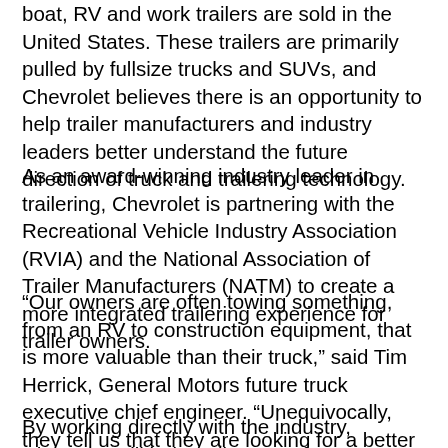boat, RV and work trailers are sold in the United States. These trailers are primarily pulled by fullsize trucks and SUVs, and Chevrolet believes there is an opportunity to help trailer manufacturers and industry leaders better understand the future direction of truck and trailering technology.
As an award-winning industry leader in trailering, Chevrolet is partnering with the Recreational Vehicle Industry Association (RVIA) and the National Association of Trailer Manufacturers (NATM) to create a more integrated trailering experience for trailer owners.
“Our owners are often towing something, from an RV to construction equipment, that is more valuable than their truck,” said Tim Herrick, General Motors future truck executive chief engineer. “Unequivocally, they tell us that they are looking for a better towing experience. Safer, easier, with more integration between their trailer and their truck.”
By working directly with the industry, Chevrolet will help trailer manufacturers develop technologies that improve combined trailer and truck safety and industry safety